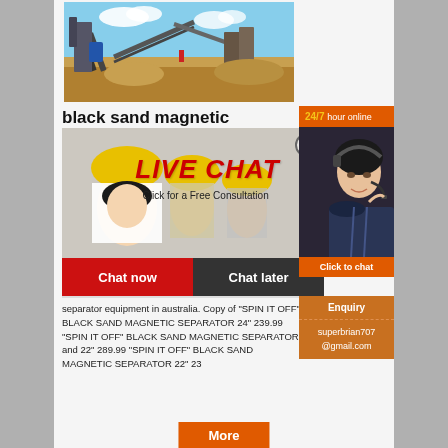[Figure (photo): Mining/quarry equipment with conveyor belts and machinery at a construction site with blue sky background]
black sand magnetic
[Figure (screenshot): Live chat overlay popup showing workers in yellow hard hats, LIVE CHAT text in red, 'Click for a Free Consultation' text, Chat now (red button) and Chat later (dark button)]
[Figure (photo): 24/7 hour online panel with customer service representative wearing headset]
separator equipment in australia. Copy of "SPIN IT OFF" BLACK SAND MAGNETIC SEPARATOR 24" 239.99 "SPIN IT OFF" BLACK SAND MAGNETIC SEPARATOR and 22" 289.99 "SPIN IT OFF" BLACK SAND MAGNETIC SEPARATOR 22" 23
[Figure (infographic): Enquiry panel with email superbrian707@gmail.com in orange/brown background]
More